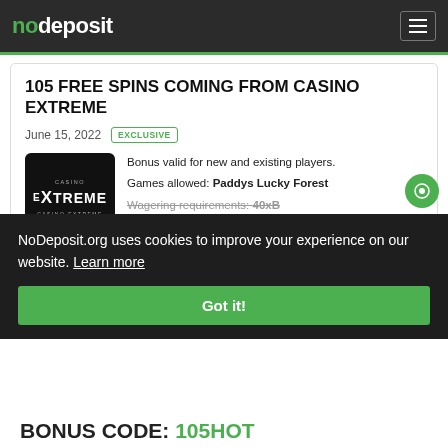nodeposit
105 FREE SPINS COMING FROM CASINO EXTREME
June 15, 2022  EXCLUSIVE
[Figure (logo): Casino Extreme logo — black square with 'EXTREME' text in white]
Bonus valid for new and existing players.
Games allowed: Paddys Lucky Forest
Wagering requirements: 40xB
Max cash out: $100
NoDeposit.org uses cookies to improve your experience on our website. Learn more
Got it!
BONUS CODE: 105HOT